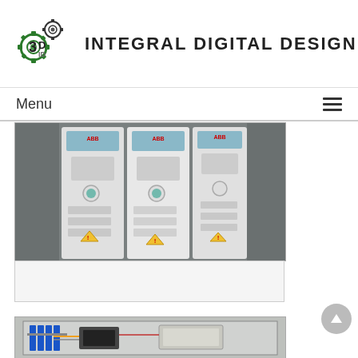[Figure (logo): 3D Integral Digital Design logo with gear icons on the left and the text INTEGRAL DIGITAL DESIGN on the right]
Menu ☰
[Figure (photo): Photo of three ABB ACS series variable frequency drives (VFDs) mounted in a cabinet, white units with control panels and warning labels]
[Figure (photo): Photo of an electrical control panel interior showing circuit breakers, DIN rail components, and wiring]